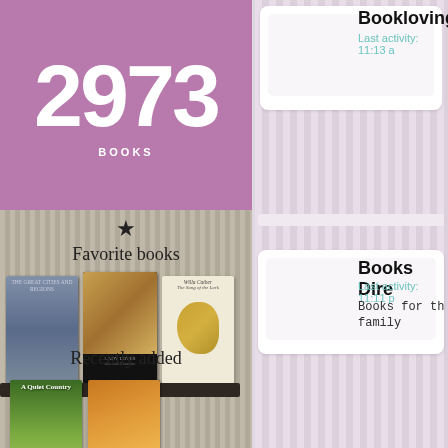2973
BOOKS
[Figure (illustration): Favorite books section with star icon and three book covers on a shelf]
Favorite books
[Figure (illustration): Recently added section with two book covers on a shelf]
Recently added
Bookloving
Last activity: 11:13 a
Books Dire
Last activity: 11:11 p
Books for th family
Garrulous
Last activity: 8:43 p